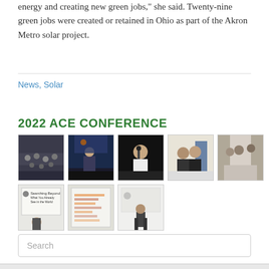energy and creating new green jobs," she said. Twenty-nine green jobs were created or retained in Ohio as part of the Akron Metro solar project.
News, Solar
2022 ACE CONFERENCE
[Figure (photo): Gallery of 8 conference photos showing crowds, speakers at podiums, and presentation screens from the 2022 ACE Conference]
Search